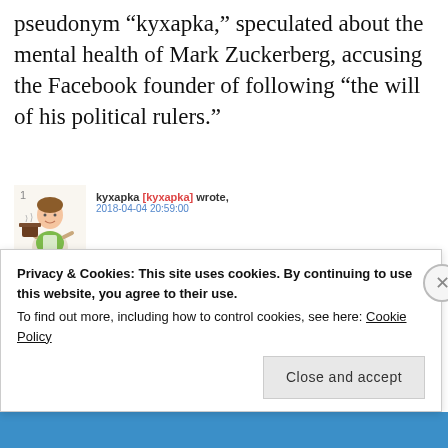pseudonym “kyxapka,” speculated about the mental health of Mark Zuckerberg, accusing the Facebook founder of following “the will of his political rulers.”
[Figure (screenshot): LiveJournal post by user kyxapka dated 2018-04-04 20:59:00 with avatar of cartoon woman cooking, navigation buttons, Russian-language post titled 'Цукерберг психанул, и начал банить всех подряд' with Russian body text]
Privacy & Cookies: This site uses cookies. By continuing to use this website, you agree to their use.
To find out more, including how to control cookies, see here: Cookie Policy
Close and accept